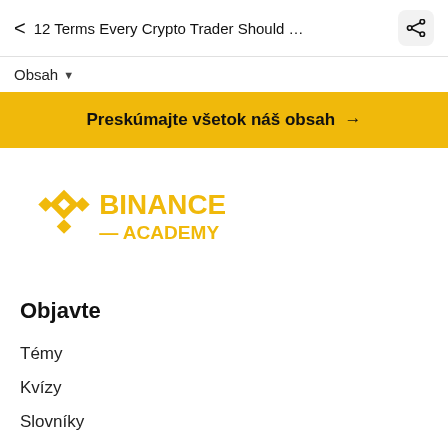< 12 Terms Every Crypto Trader Should K...
Obsah ▾
Preskúmajte všetok náš obsah →
[Figure (logo): Binance Academy logo in gold/yellow color]
Objavte
Témy
Kvízy
Slovníky